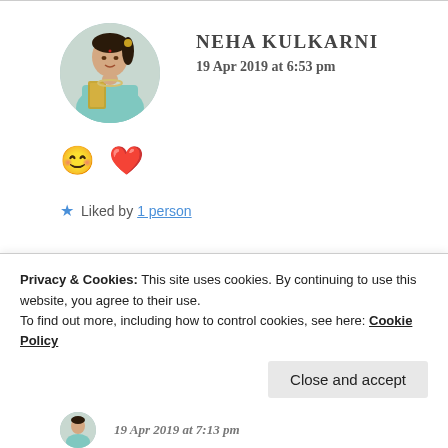[Figure (photo): Circular avatar photo of Neha Kulkarni, a woman in a teal/turquoise outfit with jewelry, smiling]
NEHA KULKARNI
19 Apr 2019 at 6:53 pm
😊 ❤️
Liked by 1 person
Advertisements
Privacy & Cookies: This site uses cookies. By continuing to use this website, you agree to their use.
To find out more, including how to control cookies, see here: Cookie Policy
Close and accept
19 Apr 2019 at 7:13 pm